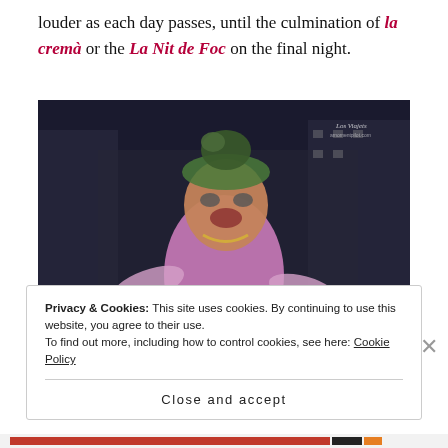louder as each day passes, until the culmination of la cremà or the La Nit de Foc on the final night.
[Figure (photo): A colorful festival sculpture/falla figure of a large grotesque woman character with a bird on her head, photographed at night, with a watermark reading 'Los Viajets' in the upper right corner.]
Privacy & Cookies: This site uses cookies. By continuing to use this website, you agree to their use. To find out more, including how to control cookies, see here: Cookie Policy
Close and accept